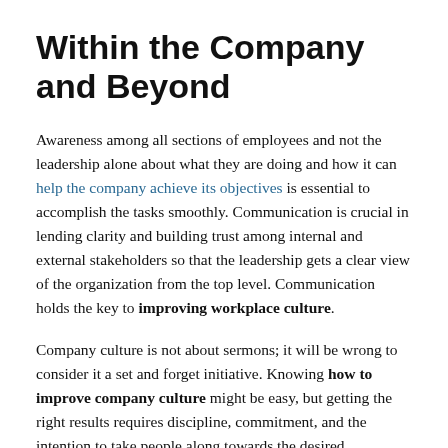Within the Company and Beyond
Awareness among all sections of employees and not the leadership alone about what they are doing and how it can help the company achieve its objectives is essential to accomplish the tasks smoothly. Communication is crucial in lending clarity and building trust among internal and external stakeholders so that the leadership gets a clear view of the organization from the top level. Communication holds the key to improving workplace culture.
Company culture is not about sermons; it will be wrong to consider it a set and forget initiative. Knowing how to improve company culture might be easy, but getting the right results requires discipline, commitment, and the intention to take people along towards the desired destination.